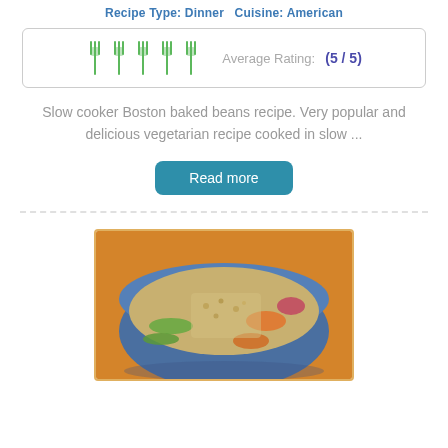Recipe Type: Dinner   Cuisine: American
[Figure (infographic): Five green fork icons in a row indicating 5-star rating, followed by text 'Average Rating: (5 / 5)']
Slow cooker Boston baked beans recipe. Very popular and delicious vegetarian recipe cooked in slow ...
[Figure (photo): Close-up photo of a grain and vegetable dish served in a blue patterned ceramic bowl on an orange background]
Read more